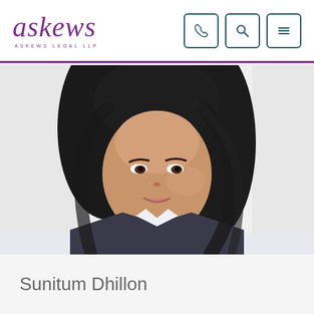askews — ASKEWS LEGAL LLP
[Figure (photo): Professional headshot of Sunitum Dhillon, a woman with long dark wavy hair, wearing a white shirt and dark blazer, smiling against a white background.]
Sunitum Dhillon